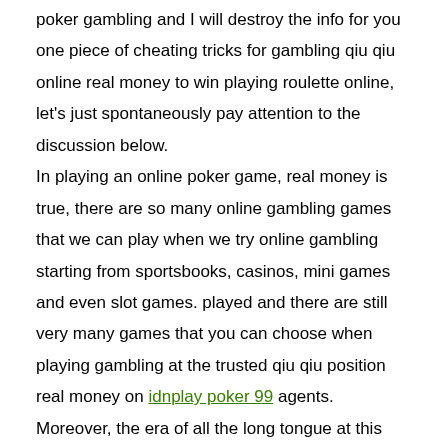poker gambling and I will destroy the info for you one piece of cheating tricks for gambling qiu qiu online real money to win playing roulette online, let's just spontaneously pay attention to the discussion below.

In playing an online poker game, real money is true, there are so many online gambling games that we can play when we try online gambling starting from sportsbooks, casinos, mini games and even slot games. played and there are still very many games that you can choose when playing gambling at the trusted qiu qiu position real money on idnplay poker 99 agents.

Moreover, the era of all the long tongue at this time, the